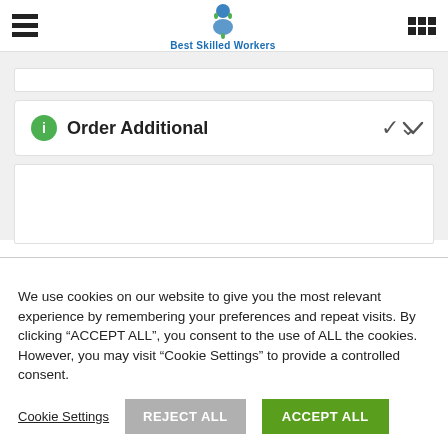Best Skilled Workers
Order Additional
We use cookies on our website to give you the most relevant experience by remembering your preferences and repeat visits. By clicking “ACCEPT ALL”, you consent to the use of ALL the cookies. However, you may visit "Cookie Settings" to provide a controlled consent.
Cookie Settings | REJECT ALL | ACCEPT ALL